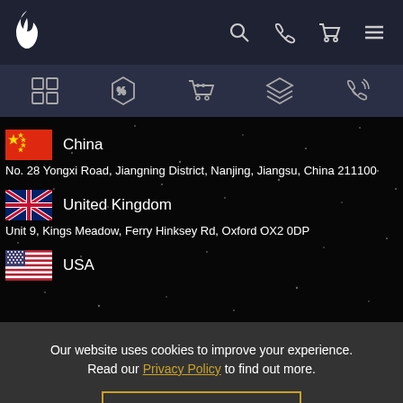[Figure (screenshot): Website navigation header with logo (flame icon), search icon, phone icon, cart icon, and hamburger menu on dark navy background. Second row shows sub-navigation icons: grid/products, discount tag, shopping cart, layers/categories, phone/contact.]
[Figure (infographic): Dark background with starfield dots. Three location entries: China with red flag and address 'No. 28 Yongxi Road, Jiangning District, Nanjing, Jiangsu, China 211100'; United Kingdom with UK flag and address 'Unit 9, Kings Meadow, Ferry Hinksey Rd, Oxford OX2 0DP'; USA with US flag.]
Our website uses cookies to improve your experience. Read our Privacy Policy to find out more.
ACCEPT & CLOSE